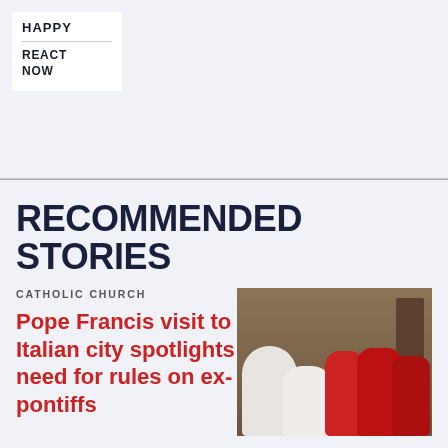HAPPY
REACT NOW
RECOMMENDED STORIES
CATHOLIC CHURCH
Pope Francis visit to Italian city spotlights need for rules on ex-pontiffs
[Figure (photo): Pope Francis and cardinals in red robes meeting with seated figure, in an indoor room with wooden door]